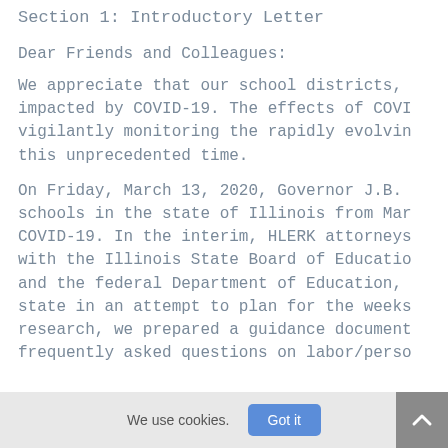Section 1: Introductory Letter
Dear Friends and Colleagues:
We appreciate that our school districts, impacted by COVID-19. The effects of COVI vigilantly monitoring the rapidly evolvin this unprecedented time.
On Friday, March 13, 2020, Governor J.B. schools in the state of Illinois from Mar COVID-19. In the interim, HLERK attorneys with the Illinois State Board of Educatio and the federal Department of Education, state in an attempt to plan for the weeks research, we prepared a guidance document frequently asked questions on labor/perso